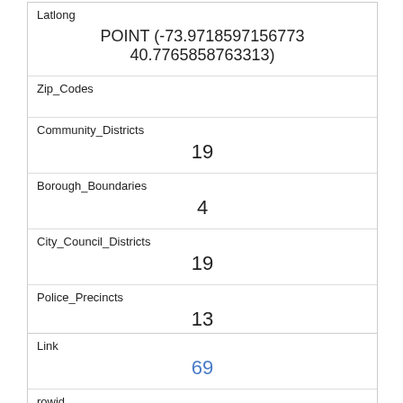| Latlong | POINT (-73.9718597156773 40.7765858763313) |
| Zip_Codes |  |
| Community_Districts | 19 |
| Borough_Boundaries | 4 |
| City_Council_Districts | 19 |
| Police_Precincts | 13 |
| Link | 69 |
| rowid | 69 |
| Longitude | -73.97797608743551 |
| Latitude |  |